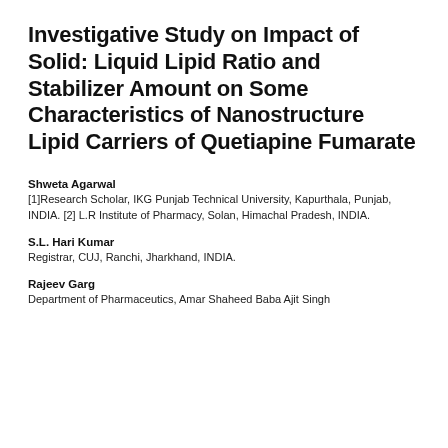Investigative Study on Impact of Solid: Liquid Lipid Ratio and Stabilizer Amount on Some Characteristics of Nanostructure Lipid Carriers of Quetiapine Fumarate
Shweta Agarwal
[1]Research Scholar, IKG Punjab Technical University, Kapurthala, Punjab, INDIA. [2] L.R Institute of Pharmacy, Solan, Himachal Pradesh, INDIA.
S.L. Hari Kumar
Registrar, CUJ, Ranchi, Jharkhand, INDIA.
Rajeev Garg
Department of Pharmaceutics, Amar Shaheed Baba Ajit Singh